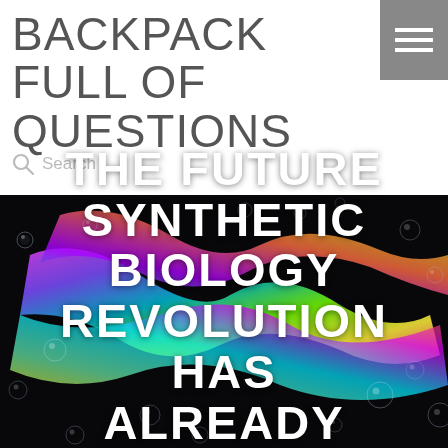BACKPACK FULL OF QUESTIONS
Search …
[Figure (photo): Dark background with iridescent soap bubbles and colorful swirling reflections, with overlaid text 'THE FUTURE SYNTHETIC BIOLOGY REVOLUTION HAS ALREADY BEGUN']
THE FUTURE SYNTHETIC BIOLOGY REVOLUTION HAS ALREADY BEGUN